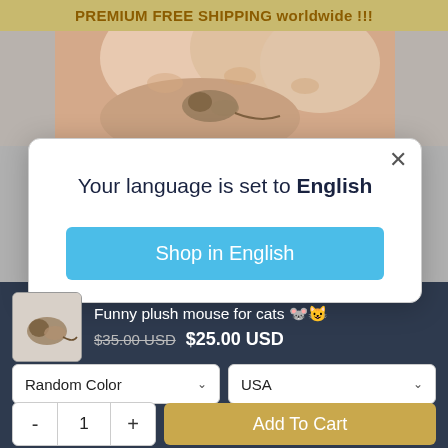PREMIUM FREE SHIPPING worldwide !!!
[Figure (photo): Close-up photo of fingers holding a small plush mouse toy]
Your language is set to English
Shop in English
Funny plush mouse for cats 🐭😸  $35.00 USD  $25.00 USD
Random Color  ∨    USA  ∨
Color    From
- 1 +   Add To Cart